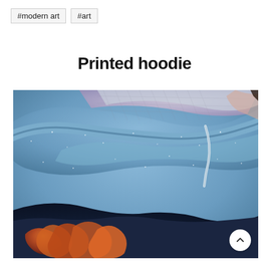#modern art
#art
Printed hoodie
[Figure (photo): Close-up photo of a printed hoodie showing the hood area with a galaxy/space print pattern featuring blue tones with white speckles and orange/red nebula-like details along the bottom edge.]